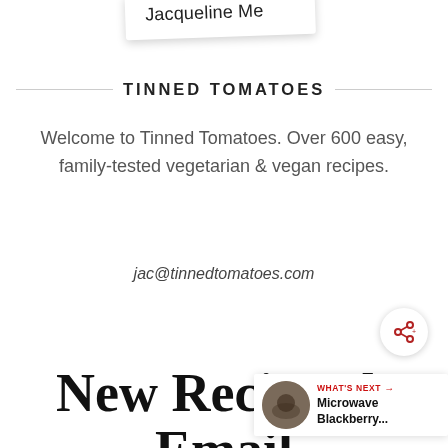[Figure (other): Partial view of a card or label showing the name 'Jacqueline Me...' (truncated), slightly rotated, white background with shadow]
TINNED TOMATOES
Welcome to Tinned Tomatoes. Over 600 easy, family-tested vegetarian & vegan recipes.
jac@tinnedtomatoes.com
[Figure (other): Share/add button icon — circular white button with a share icon (network nodes with plus sign) in dark red]
New Recipes by Email
[Figure (other): What's Next panel showing a circular avatar photo of a dessert/food item, with label 'WHAT'S NEXT →' in red and text 'Microwave Blackberry...']